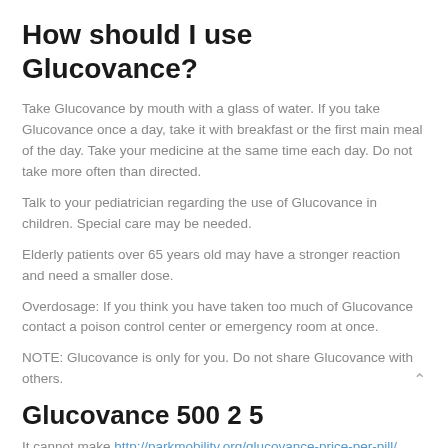How should I use Glucovance?
Take Glucovance by mouth with a glass of water. If you take Glucovance once a day, take it with breakfast or the first main meal of the day. Take your medicine at the same time each day. Do not take more often than directed.
Talk to your pediatrician regarding the use of Glucovance in children. Special care may be needed.
Elderly patients over 65 years old may have a stronger reaction and need a smaller dose.
Overdosage: If you think you have taken too much of Glucovance contact a poison control center or emergency room at once.
NOTE: Glucovance is only for you. Do not share Glucovance with others.
Glucovance 500 2 5
It cannot make http://parkmobility.org/glucovance-price-per-pill/